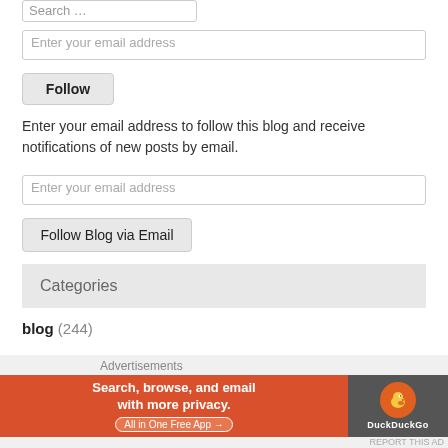Search …
Enter your email address
Follow
Enter your email address to follow this blog and receive notifications of new posts by email.
Enter your email address
Follow Blog via Email
Categories
blog (244)
body mind health (99)
Yoga (7)
[Figure (infographic): DuckDuckGo advertisement banner: 'Search, browse, and email with more privacy. All in One Free App' with DuckDuckGo duck logo on dark background.]